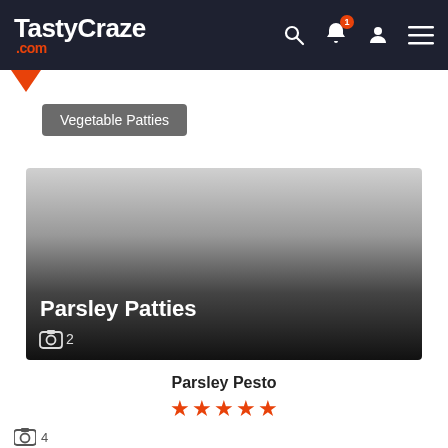TastyCraze.com
Vegetable Patties
[Figure (photo): Recipe card image for Parsley Patties with dark gradient overlay showing title and camera icon with count 2]
Parsley Patties
📷 2
Parsley Pesto
★★★★★
📷 4